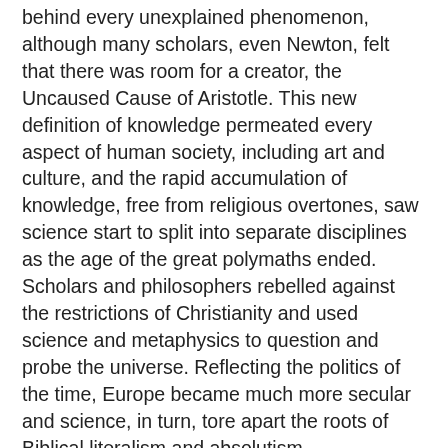behind every unexplained phenomenon, although many scholars, even Newton, felt that there was room for a creator, the Uncaused Cause of Aristotle. This new definition of knowledge permeated every aspect of human society, including art and culture, and the rapid accumulation of knowledge, free from religious overtones, saw science start to split into separate disciplines as the age of the great polymaths ended. Scholars and philosophers rebelled against the restrictions of Christianity and used science and metaphysics to question and probe the universe. Reflecting the politics of the time, Europe became much more secular and science, in turn, tore apart the roots of Biblical literalism and absolutism. Philosophers, such as Descartes (31 March 1596 – 11 February 1650), had already questioned the nature of the soul and envisioned a purely physical and mechanical universe, postulating that animals and the body were automatons, with only the soul elevating humanity. Money began to flow into research, and the easy availability of such inventions as the microscope, telescope, and barometer